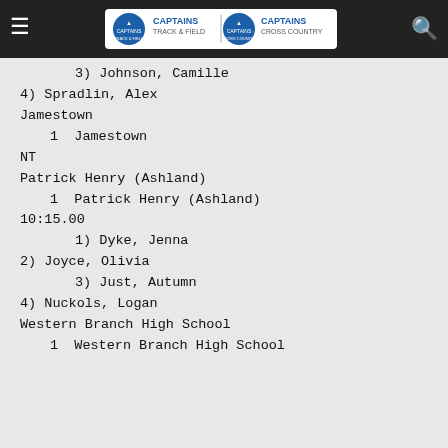Captains Track & Field | Captains Cross Country
3) Johnson, Camille
4) Spradlin, Alex
Jamestown
1  Jamestown
NT
Patrick Henry (Ashland)
1  Patrick Henry (Ashland)
10:15.00
1) Dyke, Jenna
2) Joyce, Olivia
3) Just, Autumn
4) Nuckols, Logan
Western Branch High School
1  Western Branch High School